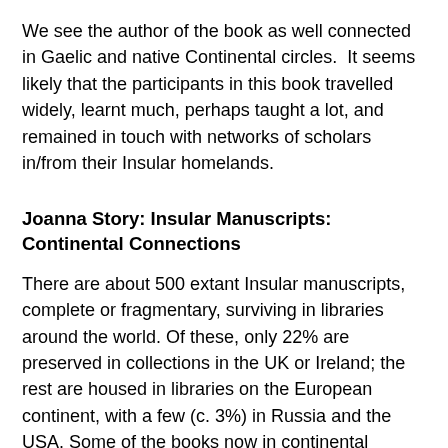We see the author of the book as well connected in Gaelic and native Continental circles.  It seems likely that the participants in this book travelled widely, learnt much, perhaps taught a lot, and remained in touch with networks of scholars in/from their Insular homelands.
Joanna Story: Insular Manuscripts: Continental Connections
There are about 500 extant Insular manuscripts, complete or fragmentary, surviving in libraries around the world. Of these, only 22% are preserved in collections in the UK or Ireland; the rest are housed in libraries on the European continent, with a few (c. 3%) in Russia and the USA. Some of the books now in continental collections undoubtedly originated in scriptoria in Anglo-Saxon England or Ireland before being exported overseas not all that long after they were written. Many more were made in scriptoria on the continent in monasteries founded by English or Irish missionaries, using scripts and methods of making that reflected the practices of the